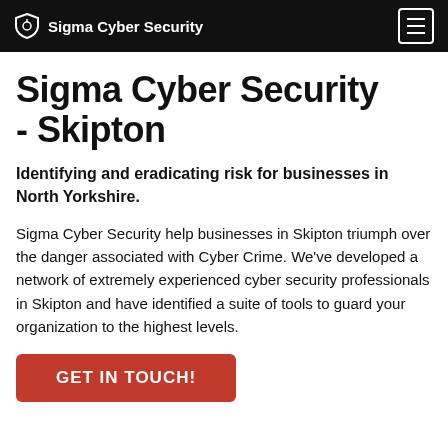Sigma Cyber Security
Sigma Cyber Security - Skipton
Identifying and eradicating risk for businesses in North Yorkshire.
Sigma Cyber Security help businesses in Skipton triumph over the danger associated with Cyber Crime. We've developed a network of extremely experienced cyber security professionals in Skipton and have identified a suite of tools to guard your organization to the highest levels.
GET IN TOUCH!